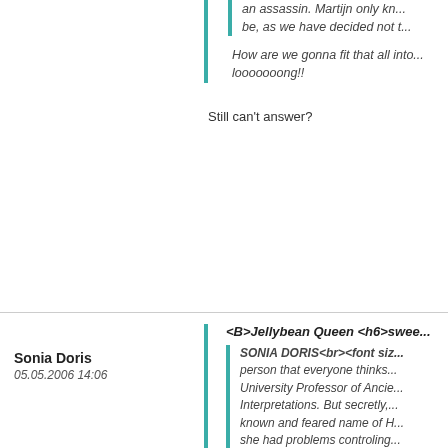an assassin. Martijn only kno... be, as we have decided not t...
How are we gonna fit that all into... looooooong!!
Still can't answer?
Sonia Doris
05.05.2006 14:06
<B>Jellybean Queen <h6>swee...
SONIA DORIS<br><font siz... person that everyone thinks... University Professor of Ancie... Interpretations. But secretly,... known and feared name of H... she had problems controling... an assassin. Martijn only kno... be, as we have decided not t...
How are we gonna fit that all into... looooooong!!
u can make it a show, a tv show. And b...